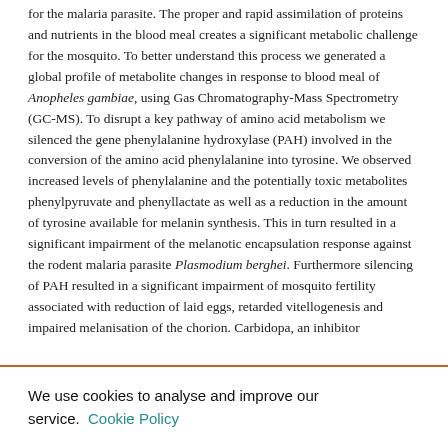for the malaria parasite. The proper and rapid assimilation of proteins and nutrients in the blood meal creates a significant metabolic challenge for the mosquito. To better understand this process we generated a global profile of metabolite changes in response to blood meal of Anopheles gambiae, using Gas Chromatography-Mass Spectrometry (GC-MS). To disrupt a key pathway of amino acid metabolism we silenced the gene phenylalanine hydroxylase (PAH) involved in the conversion of the amino acid phenylalanine into tyrosine. We observed increased levels of phenylalanine and the potentially toxic metabolites phenylpyruvate and phenyllactate as well as a reduction in the amount of tyrosine available for melanin synthesis. This in turn resulted in a significant impairment of the melanotic encapsulation response against the rodent malaria parasite Plasmodium berghei. Furthermore silencing of PAH resulted in a significant impairment of mosquito fertility associated with reduction of laid eggs, retarded vitellogenesis and impaired melanisation of the chorion. Carbidopa, an inhibitor
We use cookies to analyse and improve our service. Cookie Policy